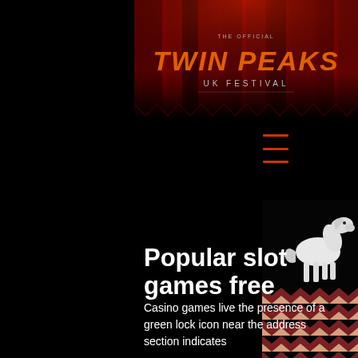[Figure (logo): The Official Twin Peaks UK Festival logo with red curtain background and orange/red stylized text]
[Figure (other): Hamburger menu icon with three horizontal red/orange lines]
[Figure (photo): White horse in a dark room with red and white zigzag chevron floor pattern on the right side]
Popular slot games free
Casino games live the presence of a green lock icon near the address section indicates